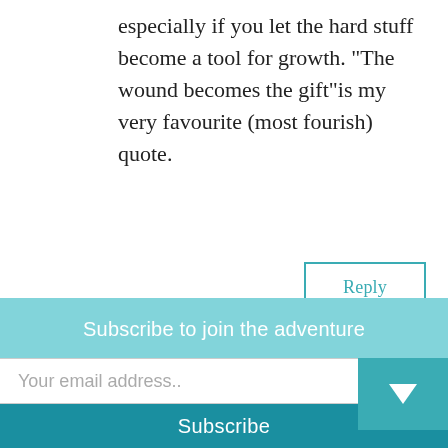especially if you let the hard stuff become a tool for growth. “The wound becomes the gift”is my very favourite (most fourish) quote.
Reply
Ingrid on 13 September 2018 at 9:05 pm
Thank you for talking about what
Subscribe to join the adventure
Your email address..
Subscribe